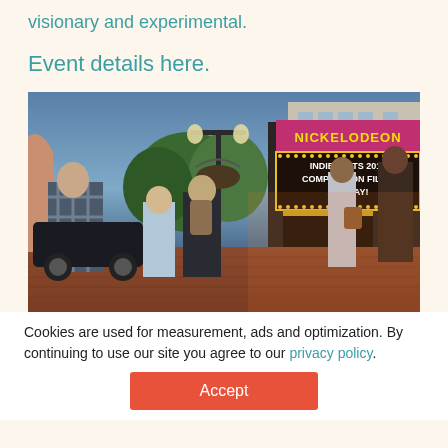visionary and experimental.
Event details here.
[Figure (photo): Street scene outside the Nickelodeon theater at dusk. Marquee reads 'INDIE GRITS 2018 COMPETITION FILMS ALL DAY!' People stand on brick sidewalk. A streetlamp with hanging basket is in the center.]
Cookies are used for measurement, ads and optimization. By continuing to use our site you agree to our privacy policy.
Accept